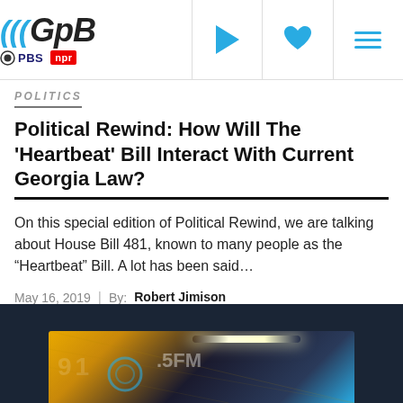GPB | PBS | NPR — Navigation header with play, favorite, and menu icons
POLITICS
Political Rewind: How Will The 'Heartbeat' Bill Interact With Current Georgia Law?
On this special edition of Political Rewind, we are talking about House Bill 481, known to many people as the “Heartbeat” Bill. A lot has been said...
May 16, 2019  |  By: Robert Jimison
[Figure (photo): Partial view of a radio station studio sign with yellow/gold lettering and FM text, with overhead lighting, against a dark background]